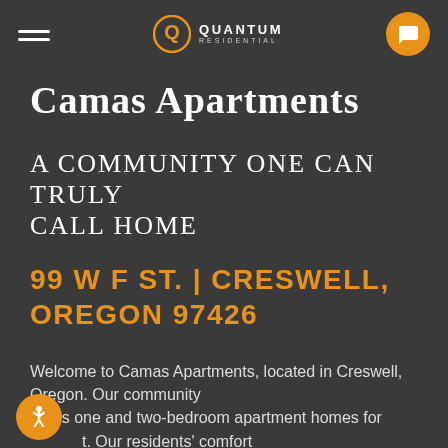QUANTUM RESIDENTIAL
Camas Apartments
A COMMUNITY ONE CAN TRULY CALL HOME
99 W F ST. | CRESWELL, OREGON 97426
Welcome to Camas Apartments, located in Creswell, Oregon. Our community offers one and two-bedroom apartment homes for ät. Our residents’ comfort